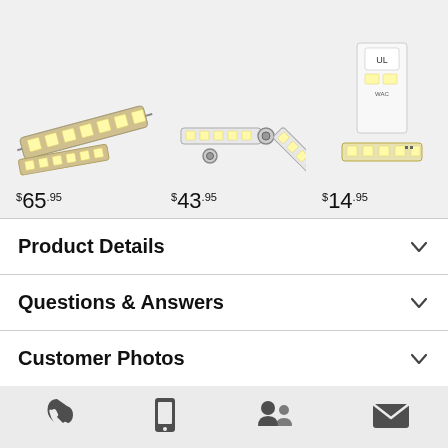[Figure (photo): Three LED strip light product images shown side by side with prices $65.95, $43.95, $14.95]
$65.95
$43.95
$14.95
Product Details
Questions & Answers
Customer Photos
Reviews
Build Full System
[Figure (infographic): Bottom navigation bar with four icons: phone/quote, mobile/text, chat/agent, email]